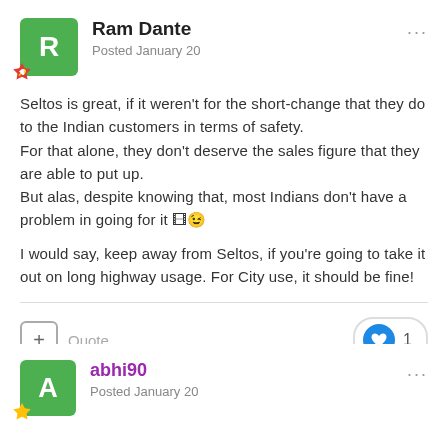Ram Dante
Posted January 20
Seltos is great, if it weren't for the short-change that they do to the Indian customers in terms of safety.
For that alone, they don't deserve the sales figure that they are able to put up.
But alas, despite knowing that, most Indians don't have a problem in going for it 🎞😉

I would say, keep away from Seltos, if you're going to take it out on long highway usage. For City use, it should be fine!
Quote
1
abhi90
Posted January 20